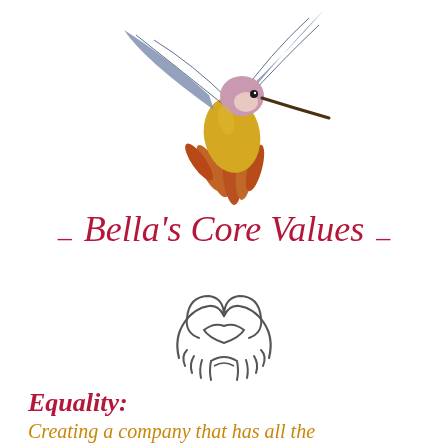[Figure (illustration): Colorful hummingbird illustration with yellow body, pink/purple head, grey-blue wings, and orange tail feathers with a long beak, facing right]
- Bella's Core Values -
[Figure (illustration): Two hands shaking/clasped together forming a heart shape outline, drawn in a simple line art style]
Equality:
Creating a company that has all the